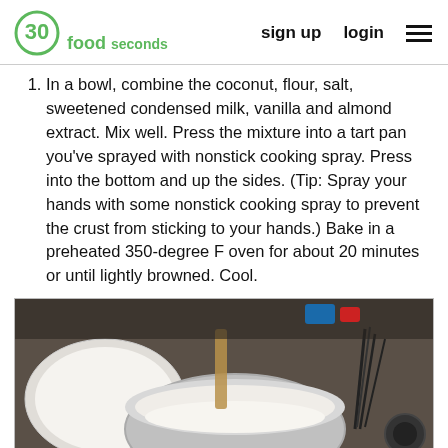30 seconds food | sign up | login
In a bowl, combine the coconut, flour, salt, sweetened condensed milk, vanilla and almond extract. Mix well. Press the mixture into a tart pan you've sprayed with nonstick cooking spray. Press into the bottom and up the sides. (Tip: Spray your hands with some nonstick cooking spray to prevent the crust from sticking to your hands.) Bake in a preheated 350-degree F oven for about 20 minutes or until lightly browned. Cool.
[Figure (photo): A mixing bowl with coconut mixture being poured into it, with a tart pan and whisk visible on a stovetop in the background.]